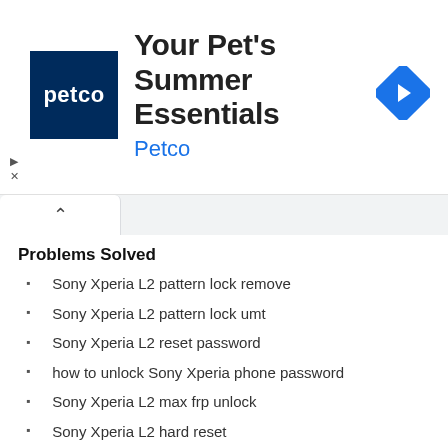[Figure (screenshot): Petco advertisement banner with logo, title 'Your Pet's Summer Essentials', brand name 'Petco', and navigation icon]
Problems Solved
Sony Xperia L2 pattern lock remove
Sony Xperia L2 pattern lock umt
Sony Xperia L2 reset password
how to unlock Sony Xperia phone password
Sony Xperia L2 max frp unlock
Sony Xperia L2 hard reset
Sony Xperia L2 pattern lock miracle
Sony Xperia L2 forget password